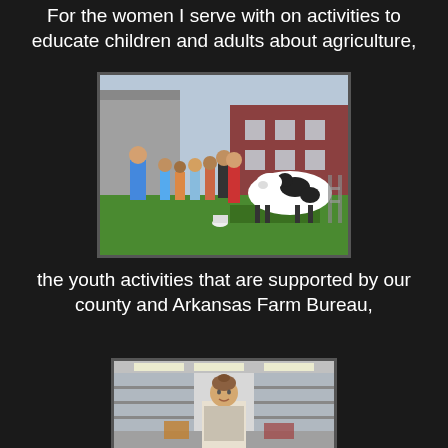For the women I serve with on activities to educate children and adults about agriculture,
[Figure (photo): A woman in a blue shirt leads a group of children and adults outdoors near a life-size black and white model cow on a green platform, with a brick school building in the background.]
the youth activities that are supported by our county and Arkansas Farm Bureau,
[Figure (photo): A woman with her hair up standing inside what appears to be a store or exhibit space with shelving and fluorescent lighting visible in the background.]